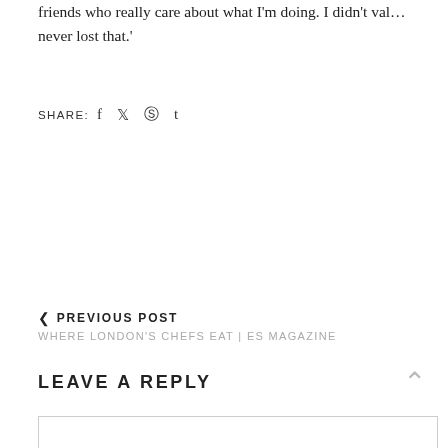friends who really care about what I'm doing. I didn't val… never lost that.'
SHARE: f ♥ @ t
< PREVIOUS POST
WHERE LONDON'S CHEFS EAT | ES MAGAZINE
LEAVE A REPLY